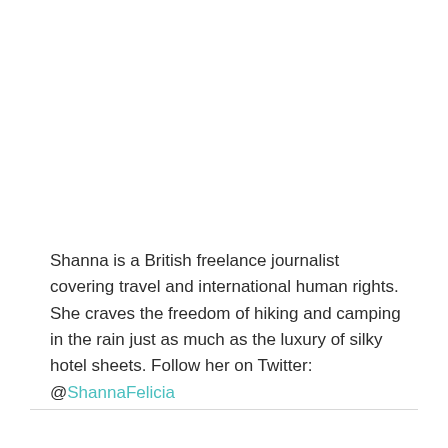Shanna is a British freelance journalist covering travel and international human rights. She craves the freedom of hiking and camping in the rain just as much as the luxury of silky hotel sheets. Follow her on Twitter: @ShannaFelicia